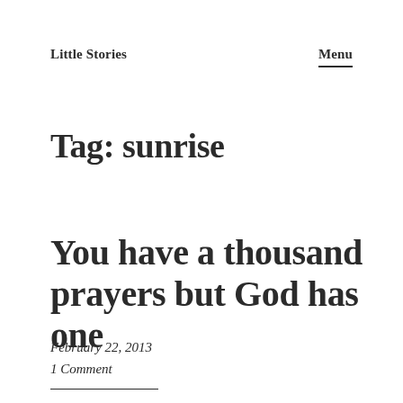Little Stories   Menu
Tag: sunrise
You have a thousand prayers but God has one
February 22, 2013
1 Comment